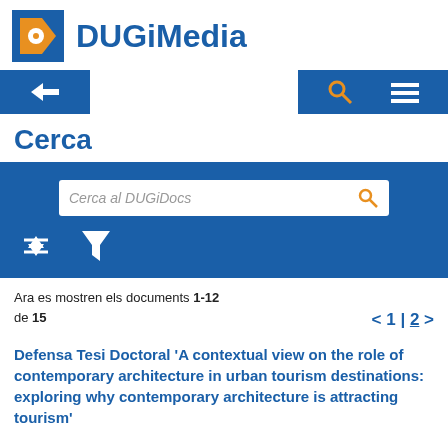[Figure (logo): DUGiMedia logo with blue square containing orange D shape and white circle, followed by bold blue text DUGiMedia]
[Figure (screenshot): Navigation bar with blue back arrow button on left and blue search/menu icons on right]
Cerca
[Figure (screenshot): Blue search panel with search box labeled 'Cerca al DUGiDocs' and sort/filter icons]
Ara es mostren els documents 1-12 de 15
< 1 | 2 >
Defensa Tesi Doctoral 'A contextual view on the role of contemporary architecture in urban tourism destinations: exploring why contemporary architecture is attracting tourism'